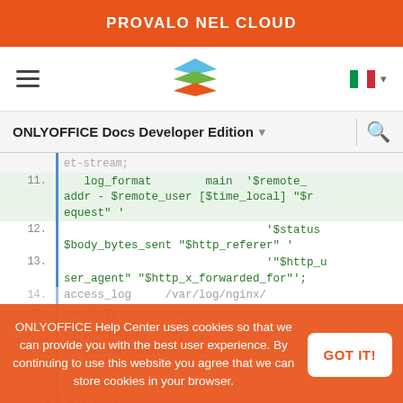PROVALO NEL CLOUD
[Figure (logo): OnlyOffice layered logo in blue/green/orange]
ONLYOFFICE Docs Developer Edition
et-stream;
11.    log_format        main  '$remote_addr - $remote_user [$time_local] "$request" '
12.                                '$status $body_bytes_sent "$http_referer" '
13.                                '"$http_user_agent" "$http_x_forwarded_for"';
14.    access_log   /var/log/nginx/
15.    ...
16.    #tcp_nopush     on;
17.    keepalive_timeout   65;
18.    #gzip  on;
19.    include      /etc/nginx/con
        f.d/*.conf;
ONLYOFFICE Help Center uses cookies so that we can provide you with the best user experience. By continuing to use this website you agree that we can store cookies in your browser.